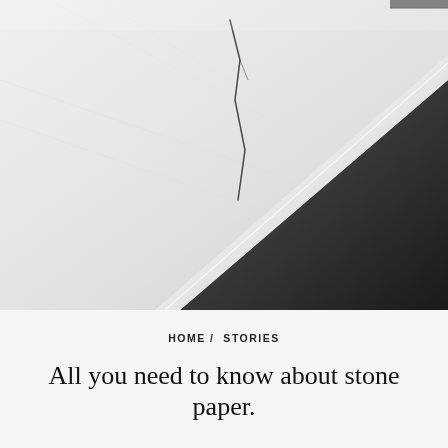[Figure (photo): Close-up black and white photograph of stone paper (or a stone/marble-like material), showing a diagonal composition with a light white/grey textured surface on the left and a dark grey/black surface on the right, separated by a diagonal edge. There is a thin crack or line visible on the light surface.]
HOME /  STORIES
All you need to know about stone paper.